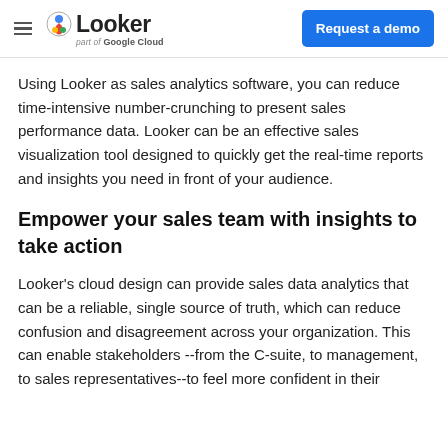Looker — part of Google Cloud | Request a demo
Using Looker as sales analytics software, you can reduce time-intensive number-crunching to present sales performance data. Looker can be an effective sales visualization tool designed to quickly get the real-time reports and insights you need in front of your audience.
Empower your sales team with insights to take action
Looker's cloud design can provide sales data analytics that can be a reliable, single source of truth, which can reduce confusion and disagreement across your organization. This can enable stakeholders --from the C-suite, to management, to sales representatives--to feel more confident in their